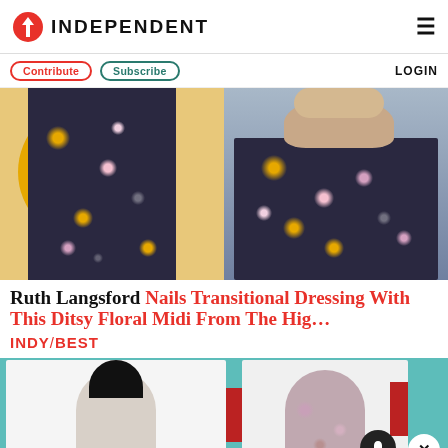INDEPENDENT
Contribute  Subscribe  LOGIN
[Figure (photo): Two images side by side: left shows a floral midi dress against a yellow circle on a light background; right shows a woman in a floral top seated in a TV studio setting]
Ruth Langsford Nails Transitional Dressing With This Ditsy Floral Midi From The Hig…
INDY/BEST
[Figure (photo): Two fashion model images side by side on a teal background, a woman in white on left and a woman in floral top on right, with notification bell and close button overlaid]